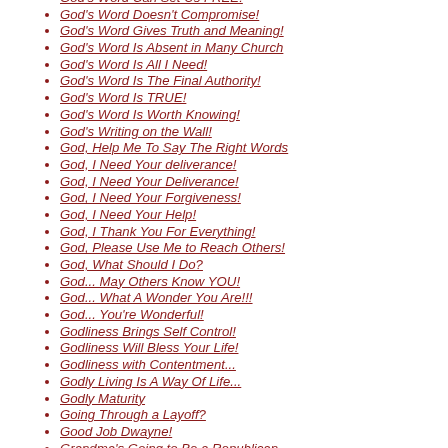God's Word Can Set Us FREE!
God's Word Doesn't Compromise!
God's Word Gives Truth and Meaning!
God's Word Is Absent in Many Church
God's Word Is All I Need!
God's Word Is The Final Authority!
God's Word Is TRUE!
God's Word Is Worth Knowing!
God's Writing on the Wall!
God, Help Me To Say The Right Words
God, I Need Your deliverance!
God, I Need Your Deliverance!
God, I Need Your Forgiveness!
God, I Need Your Help!
God, I Thank You For Everything!
God, Please Use Me to Reach Others!
God, What Should I Do?
God... May Others Know YOU!
God... What A Wonder You Are!!!
God... You're Wonderful!
Godliness Brings Self Control!
Godliness Will Bless Your Life!
Godliness with Contentment...
Godly Living Is A Way Of Life...
Godly Maturity
Going Through a Layoff?
Good Job Dwayne!
Grandma's Going to Be a Republican
Growing In Christ...
Guard Your Eyes!